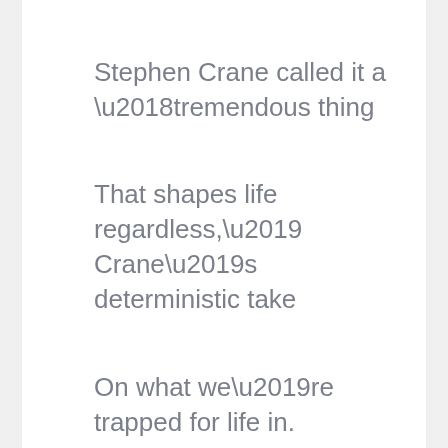Stephen Crane called it a ‘tremendous thing
That shapes life regardless,’ Crane’s deterministic take
On what we’re trapped for life in.
Once, as a wee Rh preemie, I was